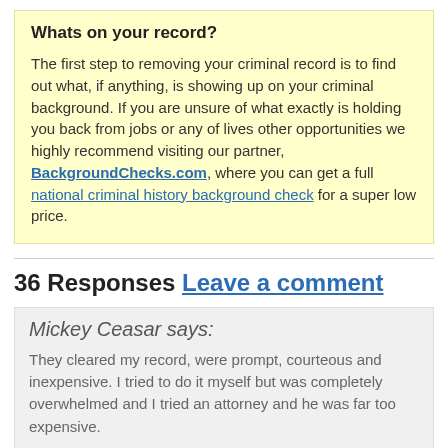Whats on your record?
The first step to removing your criminal record is to find out what, if anything, is showing up on your criminal background. If you are unsure of what exactly is holding you back from jobs or any of lives other opportunities we highly recommend visiting our partner, BackgroundChecks.com, where you can get a full national criminal history background check for a super low price.
36 Responses Leave a comment
Mickey Ceasar says:
They cleared my record, were prompt, courteous and inexpensive. I tried to do it myself but was completely overwhelmed and I tried an attorney and he was far too expensive.